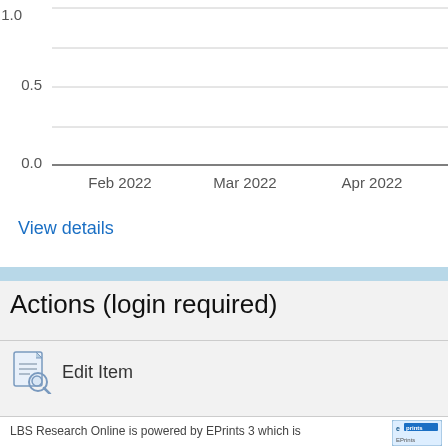[Figure (continuous-plot): Bottom portion of a line chart with y-axis labels 0.5 and 0.0, and x-axis labels Feb 2022, Mar 2022, Apr 2022. The chart appears partially cropped at the top.]
View details
Actions (login required)
Edit Item
LBS Research Online is powered by EPrints 3 which is